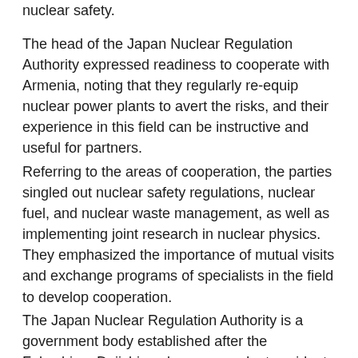nuclear safety.
The head of the Japan Nuclear Regulation Authority expressed readiness to cooperate with Armenia, noting that they regularly re-equip nuclear power plants to avert the risks, and their experience in this field can be instructive and useful for partners.
Referring to the areas of cooperation, the parties singled out nuclear safety regulations, nuclear fuel, and nuclear waste management, as well as implementing joint research in nuclear physics. They emphasized the importance of mutual visits and exchange programs of specialists in the field to develop cooperation.
The Japan Nuclear Regulation Authority is a government body established after the Fukushima Daiichi nuclear power plant accident in 2012 to